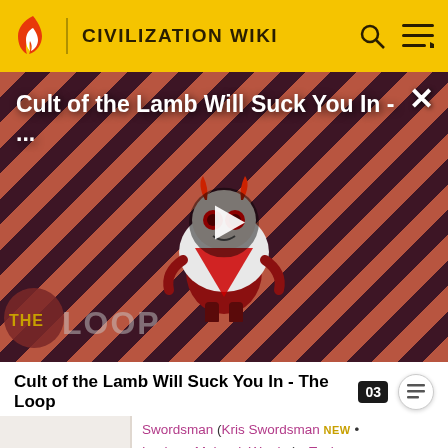CIVILIZATION WIKI
[Figure (screenshot): Video thumbnail for 'Cult of the Lamb Will Suck You In - The Loop' showing a cartoon lamb character on a striped red and dark background with The Loop logo in the lower left and a play button in the center]
Cult of the Lamb Will Suck You In - The Loop
Swordsman (Kris Swordsman NEW • Legion • Mohawk Warrior) • Tank (Panzer) • Trebuchet (Hwach'a) • Warrior (Brute • Jaguar • Maori Warrior) • XCOM Squad NEW